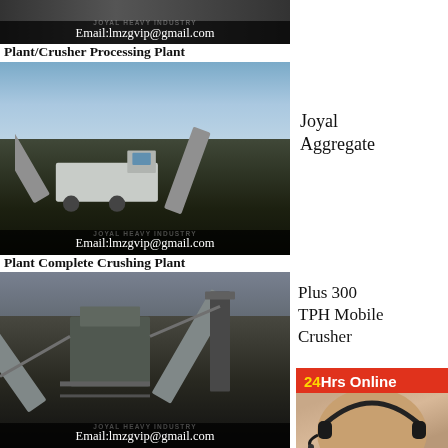[Figure (photo): Top partial image of crushing plant machinery with dark background and email overlay showing Email:lmzgvip@gmail.com]
Plant/Crusher Processing Plant
[Figure (photo): Joyal mobile crusher/aggregate processing plant outdoors on a construction site with conveyor belts, blue sky background, email overlay showing Email:lmzgvip@gmail.com]
Joyal Aggregate
Plant Complete Crushing Plant
[Figure (photo): Large complete crushing plant with multiple conveyors and heavy machinery, industrial setting, email overlay showing Email:lmzgvip@gmail.com]
Plus 300 TPH Mobile Crusher
24Hrs Online
[Figure (photo): Customer service representative wearing headset, partial face visible]